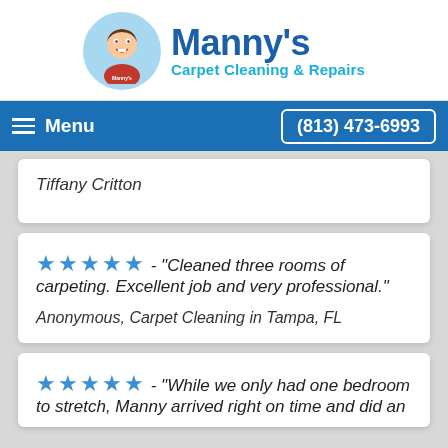[Figure (logo): Manny's Carpet Cleaning & Repairs logo with cartoon character in circle and blue text]
Manny's Carpet Cleaning & Repairs
Menu  (813) 473-6993
Tiffany Critton
★★★★★ - "Cleaned three rooms of carpeting. Excellent job and very professional."
Anonymous, Carpet Cleaning in Tampa, FL
★★★★★ - "While we only had one bedroom to stretch, Manny arrived right on time and did an